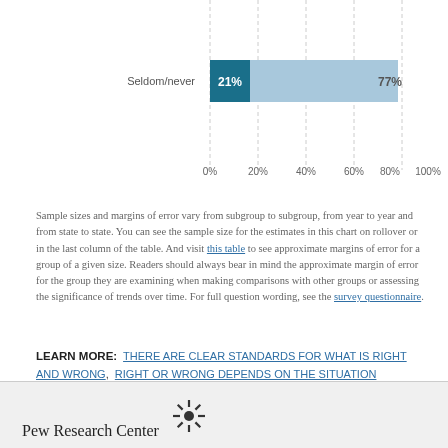[Figure (bar-chart): Seldom/never]
Sample sizes and margins of error vary from subgroup to subgroup, from year to year and from state to state. You can see the sample size for the estimates in this chart on rollover or in the last column of the table. And visit this table to see approximate margins of error for a group of a given size. Readers should always bear in mind the approximate margin of error for the group they are examining when making comparisons with other groups or assessing the significance of trends over time. For full question wording, see the survey questionnaire.
LEARN MORE: THERE ARE CLEAR STANDARDS FOR WHAT IS RIGHT AND WRONG, RIGHT OR WRONG DEPENDS ON THE SITUATION
Pew Research Center